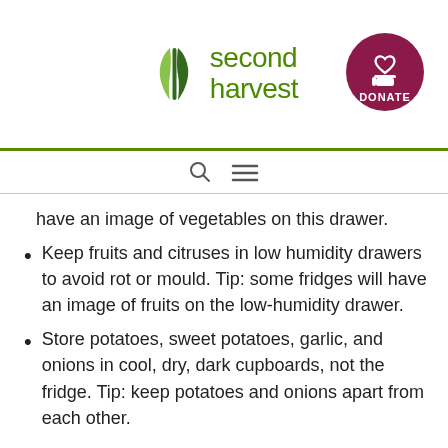[Figure (logo): Second Harvest logo with leaf/grain icon and green text]
[Figure (other): Circular dark red/maroon DONATE button with heart and hand icon]
have an image of vegetables on this drawer.
Keep fruits and citruses in low humidity drawers to avoid rot or mould. Tip: some fridges will have an image of fruits on the low-humidity drawer.
Store potatoes, sweet potatoes, garlic, and onions in cool, dry, dark cupboards, not the fridge. Tip: keep potatoes and onions apart from each other.